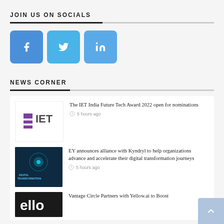JOIN US ON SOCIALS
[Figure (infographic): Three social media icon buttons: Facebook (blue, f), Twitter (light blue, bird), LinkedIn (blue, in)]
NEWS CORNER
[Figure (infographic): News item: IET logo thumbnail with headline 'The IET India Future Tech Award 2022 open for nominations', timestamped 5 hours ago]
[Figure (infographic): News item: Digital Transformation thumbnail with headline 'EY announces alliance with Kyndryl to help organizations advance and accelerate their digital transformation journeys', timestamped 5 hours ago]
[Figure (infographic): News item: Vantage Circle logo thumbnail with partial headline 'Vantage Circle Partners with Yellow.ai to Boost...']